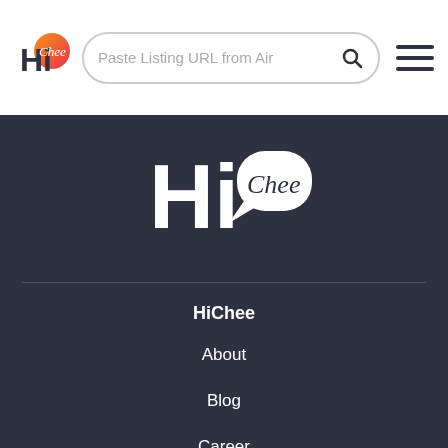[Figure (logo): HiChee logo in navbar - Hi in bold grey with Chee in cursive on orange-red circle]
Paste Listing URL from Air
[Figure (other): Search icon magnifying glass]
[Figure (other): Hamburger menu icon with three horizontal lines]
[Figure (logo): Large HiChee logo centered on dark background - Hi in white bold with Chee in cursive in speech bubble]
HiChee
About
Blog
Career
Privacy policy
Terms of service